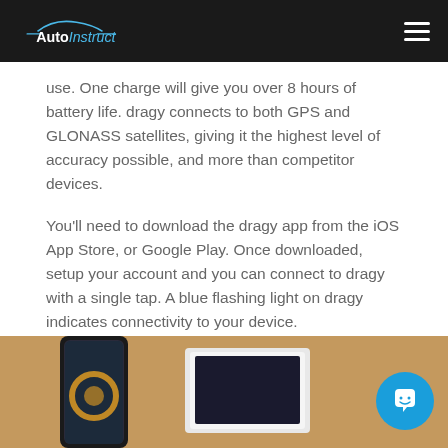AutoInstruct
use. One charge will give you over 8 hours of battery life. dragy connects to both GPS and GLONASS satellites, giving it the highest level of accuracy possible, and more than competitor devices.
You'll need to download the dragy app from the iOS App Store, or Google Play. Once downloaded, setup your account and you can connect to dragy with a single tap. A blue flashing light on dragy indicates connectivity to your device.
[Figure (photo): Photo showing a smartphone and a dragy GPS device on a wooden surface]